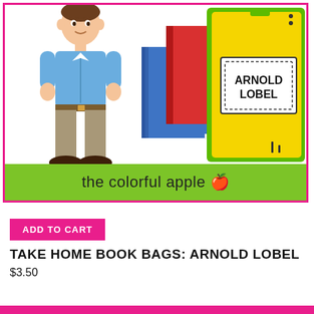[Figure (illustration): Colorful educational product image showing a cartoon man in blue shirt and khaki pants standing next to stacked books (red, blue) and a large yellow folder/book bag with a label reading 'ARNOLD LOBEL'. Green banner at bottom reads 'the colorful apple' with a red apple emoji. Pink border around image.]
ADD TO CART
TAKE HOME BOOK BAGS: ARNOLD LOBEL
$3.50